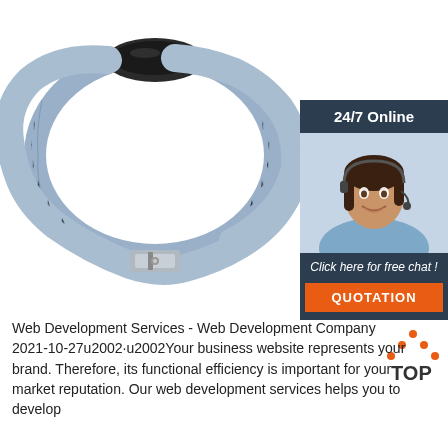[Figure (photo): A wristwatch with a black oval case and a segmented light-blue/grey expansion band, laid flat showing the full band loop and metal clasp.]
[Figure (infographic): Dark blue chat widget with '24/7 Online' header, photo of smiling woman with headset, italic text 'Click here for free chat!', and orange 'QUOTATION' button.]
[Figure (logo): TOP logo with orange dots arranged in a triangle above text 'TOP' in dark grey.]
Web Development Services - Web Development Company 2021-10-27u2002·u2002Your business website represents your brand. Therefore, its functional efficiency is important for your market reputation. Our web development services helps you to develop